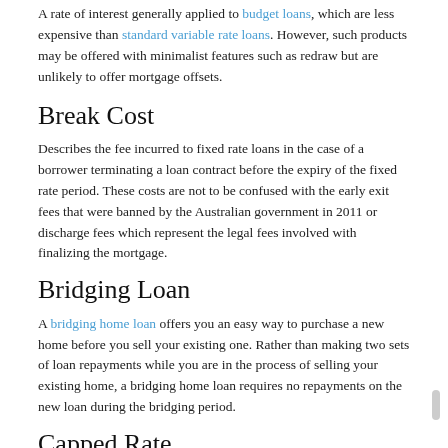A rate of interest generally applied to budget loans, which are less expensive than standard variable rate loans. However, such products may be offered with minimalist features such as redraw but are unlikely to offer mortgage offsets.
Break Cost
Describes the fee incurred to fixed rate loans in the case of a borrower terminating a loan contract before the expiry of the fixed rate period. These costs are not to be confused with the early exit fees that were banned by the Australian government in 2011 or discharge fees which represent the legal fees involved with finalizing the mortgage.
Bridging Loan
A bridging home loan offers you an easy way to purchase a new home before you sell your existing one. Rather than making two sets of loan repayments while you are in the process of selling your existing home, a bridging home loan requires no repayments on the new loan during the bridging period.
Capped Rate
This describes a loan where the rate will not rise above a pre-defined ceiling for a specific time but may fall in the event of a